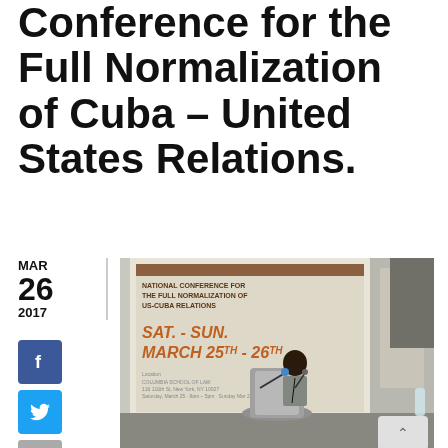Conference for the Full Normalization of Cuba – United States Relations.
MAR 26 2017
[Figure (photo): A woman speaking at a podium during the National Conference for the Full Normalization of US-Cuba Relations, March 25th-26th, with a projection screen visible behind her.]
Dear friends,
We are touched to see, once again, that we have so